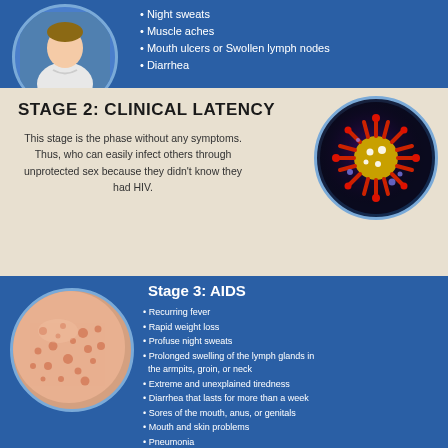[Figure (illustration): Circular photo of a person sitting, upper body visible, on blue background]
Night sweats
Muscle aches
Mouth ulcers or Swollen lymph nodes
Diarrhea
STAGE 2: CLINICAL LATENCY
This stage is the phase without any symptoms. Thus, who can easily infect others through unprotected sex because they didn't know they had HIV.
[Figure (photo): Circular microscope image of an HIV virus particle, red spiky virus on dark background]
[Figure (photo): Circular photo of skin with rash/lesions, pinkish skin texture]
Stage 3: AIDS
Recurring fever
Rapid weight loss
Profuse night sweats
Prolonged swelling of the lymph glands in the armpits, groin, or neck
Extreme and unexplained tiredness
Diarrhea that lasts for more than a week
Sores of the mouth, anus, or genitals
Mouth and skin problems
Pneumonia
Memory loss or Depression
Frequent infections
Other neurologic disorders